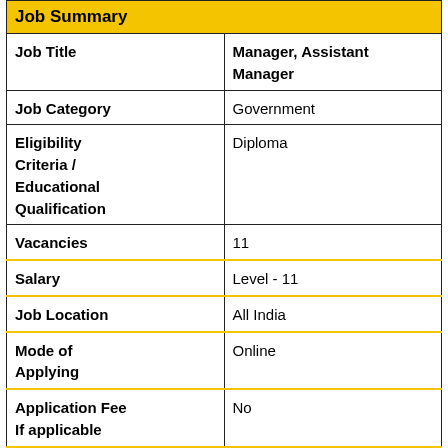| Job Summary |  |
| --- | --- |
| Job Title | Manager, Assistant Manager |
| Job Category | Government |
| Eligibility Criteria / Educational Qualification | Diploma |
| Vacancies | 11 |
| Salary | Level - 11 |
| Job Location | All India |
| Mode of Applying | Online |
| Application Fee If applicable | No |
| Mode of Payment of Application Fee | No |
| Date of ... | 01/00/0001 |